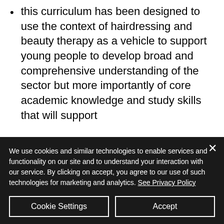this curriculum has been designed to use the context of hairdressing and beauty therapy as a vehicle to support young people to develop broad and comprehensive understanding of the sector but more importantly of core academic knowledge and study skills that will support
We use cookies and similar technologies to enable services and functionality on our site and to understand your interaction with our service. By clicking on accept, you agree to our use of such technologies for marketing and analytics. See Privacy Policy
Cookie Settings
Accept